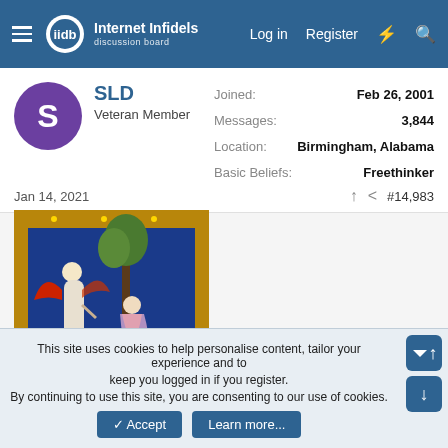Internet Infidels — Log in  Register
SLD
Veteran Member
Joined: Feb 26, 2001
Messages: 3,844
Location: Birmingham, Alabama
Basic Beliefs: Freethinker
Jan 14, 2021  #14,983
[Figure (illustration): Medieval illuminated manuscript illustration showing a white-robed angel with red wings gesturing toward a seated robed elderly figure, with a tree and blue background.]
This site uses cookies to help personalise content, tailor your experience and to keep you logged in if you register.
By continuing to use this site, you are consenting to our use of cookies.
Accept  Learn more...